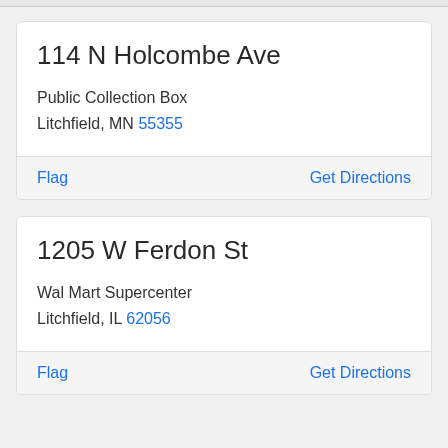114 N Holcombe Ave
Public Collection Box
Litchfield, MN 55355
Flag    Get Directions
1205 W Ferdon St
Wal Mart Supercenter
Litchfield, IL 62056
Flag    Get Directions